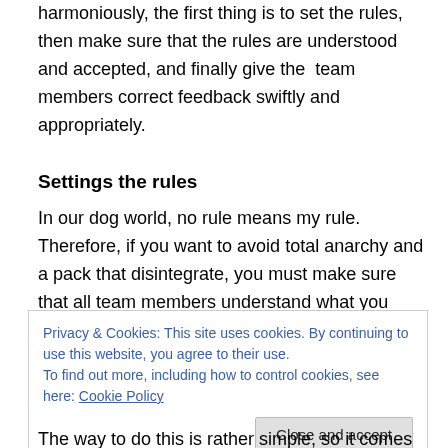harmoniously, the first thing is to set the rules, then make sure that the rules are understood and accepted, and finally give the  team members correct feedback swiftly and appropriately.
Settings the rules
In our dog world, no rule means my rule. Therefore, if you want to avoid total anarchy and a pack that disintegrate, you must make sure that all team members understand what you want and which behaviors they are allowed and which ones they are not. As the leader, this is your duty.
Privacy & Cookies: This site uses cookies. By continuing to use this website, you agree to their use.
To find out more, including how to control cookies, see here: Cookie Policy
The way to do this is rather simple, so it comes down to